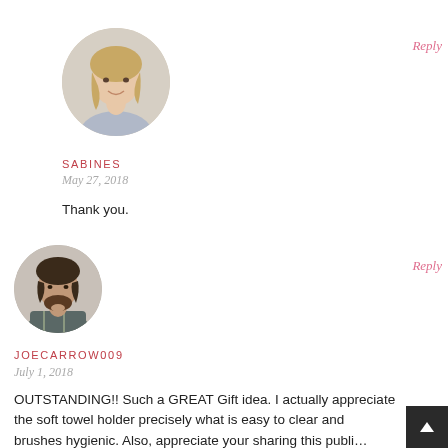[Figure (photo): Circular avatar photo of a blonde woman smiling]
Reply
SABINES
May 27, 2018
Thank you.
[Figure (photo): Circular avatar photo of a dark-haired man with beard thinking]
Reply
JOECARROW009
July 1, 2018
OUTSTANDING!! Such a GREAT Gift idea. I actually appreciate the soft towel holder precisely what is easy to clear and brushes hygienic. Also, appreciate your sharing this publi…